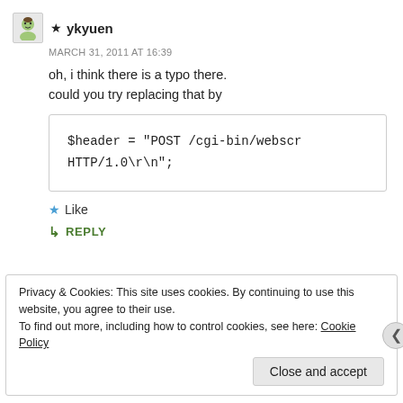★ ykyuen
MARCH 31, 2011 AT 16:39
oh, i think there is a typo there.
could you try replacing that by
$header = "POST /cgi-bin/webscr HTTP/1.0\r\n";
★ Like
↳ REPLY
Privacy & Cookies: This site uses cookies. By continuing to use this website, you agree to their use.
To find out more, including how to control cookies, see here: Cookie Policy
Close and accept